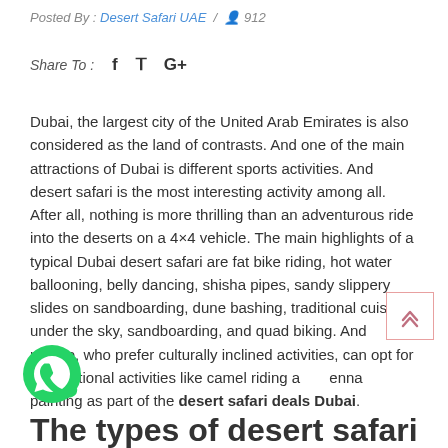Posted By : Desert Safari UAE / 912
Share To : f  ❧  G+
Dubai, the largest city of the United Arab Emirates is also considered as the land of contrasts. And one of the main attractions of Dubai is different sports activities. And desert safari is the most interesting activity among all. After all, nothing is more thrilling than an adventurous ride into the deserts on a 4×4 vehicle. The main highlights of a typical Dubai desert safari are fat bike riding, hot water ballooning, belly dancing, shisha pipes, sandy slippery slides on sandboarding, dune bashing, traditional cuisine under the sky, sandboarding, and quad biking. And people, who prefer culturally inclined activities, can opt for conventional activities like camel riding and henna painting as part of the desert safari deals Dubai.
The types of desert safari